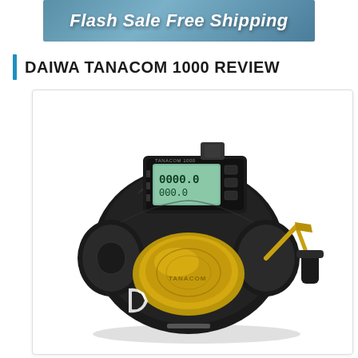[Figure (other): Flash Sale Free Shipping promotional banner with blue/teal gradient background and bold italic white text]
DAIWA TANACOM 1000 REVIEW
[Figure (photo): Product photo of the Daiwa Tanacom 1000 electric fishing reel — black and gold body with LCD digital display showing 0000.0 and 000.0 readouts, multiple control buttons, gold spool, gold crank arm with black T-bar handle, Daiwa logo on body, against white background]